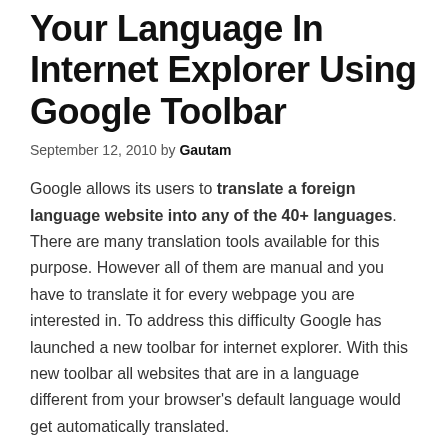Your Language In Internet Explorer Using Google Toolbar
September 12, 2010 by Gautam
Google allows its users to translate a foreign language website into any of the 40+ languages. There are many translation tools available for this purpose. However all of them are manual and you have to translate it for every webpage you are interested in. To address this difficulty Google has launched a new toolbar for internet explorer. With this new toolbar all websites that are in a language different from your browser's default language would get automatically translated.
You can auto translate the website in the language of your